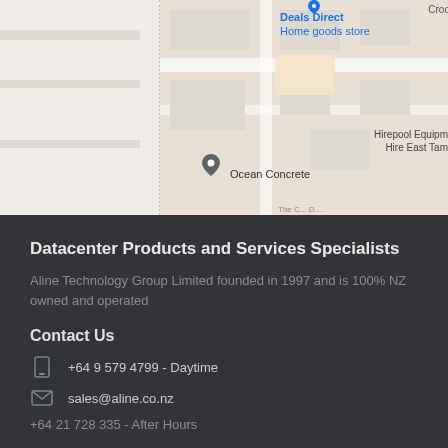[Figure (map): Google Maps partial view showing Deals Direct (Home goods store), Ocean Concrete, Hirepool Equipment Hire East Tamaki, and Crooked lane label]
Datacenter Products and Services Specialists
Aline Technology Group Limited founded in 1997 and is 100% NZ owned and operated
Contact Us
+64 9 579 4799 - Daytime
sales@aline.co.nz
+64 21 728 335 - After Hours